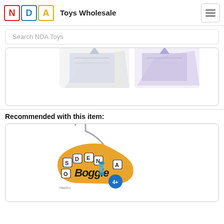Toys Wholesale
Search NDA Toys
[Figure (photo): Partial product image card showing two toy items at the top, mostly cropped.]
Recommended with this item:
[Figure (photo): Boggle board game product image on a yellow/orange retail card with letter dice visible.]